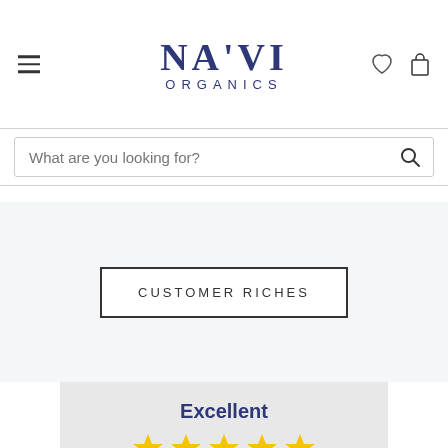[Figure (logo): NA'VI ORGANICS logo with hamburger menu, heart icon, and shopping bag icon]
What are you looking for?
CUSTOMER RICHES
Excellent
4.95 average
1,523 reviews